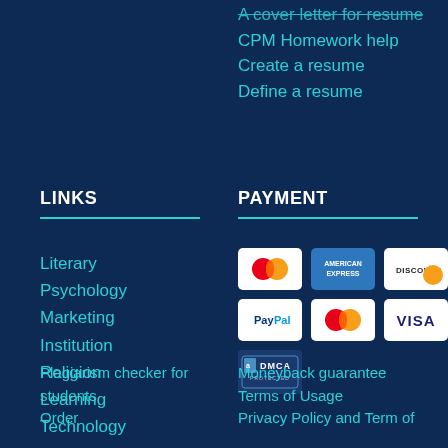A cover letter for resume
CPM Homework help
Create a resume
Define a resume
LINKS
Literary
Psychology
Marketing
Institution
Religion
Learning
Technology
PAYMENT
[Figure (logo): Payment method logos: Maestro, American Express, Discover, PayPal, Mastercard, Visa, DMCA Protected]
Plagiarism checker for students
Order
Moneyback guarantee
Terms of Usage
Privacy Policy and Term of